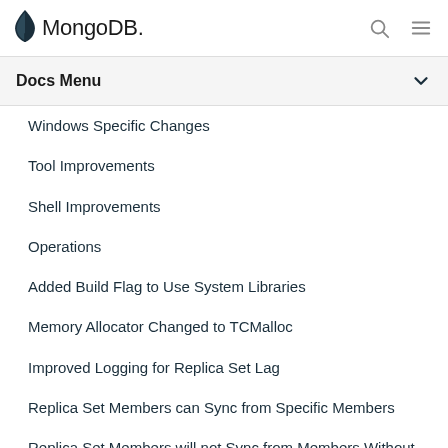MongoDB — Docs Menu
Windows Specific Changes
Tool Improvements
Shell Improvements
Operations
Added Build Flag to Use System Libraries
Memory Allocator Changed to TCMalloc
Improved Logging for Replica Set Lag
Replica Set Members can Sync from Specific Members
Replica Set Members will not Sync from Members Without Indexes Unless buildIndexes: